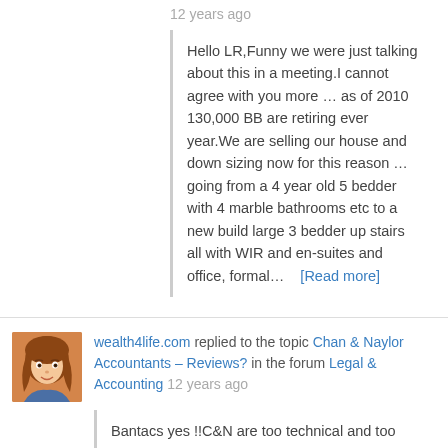12 years ago
Hello LR,Funny we were just talking about this in a meeting.I cannot agree with you more … as of 2010 130,000 BB are retiring ever year.We are selling our house and down sizing now for this reason … going from a 4 year old 5 bedder with 4 marble bathrooms etc to a new build large 3 bedder up stairs all with WIR and en-suites and office, formal… [Read more]
wealth4life.com replied to the topic Chan & Naylor Accountants – Reviews? in the forum Legal & Accounting 12 years ago
Bantacs yes !!C&N are too technical and too expensive … keep it simple … asset protection is quite basic.D
wealth4life.com replied to the topic Putting up with the